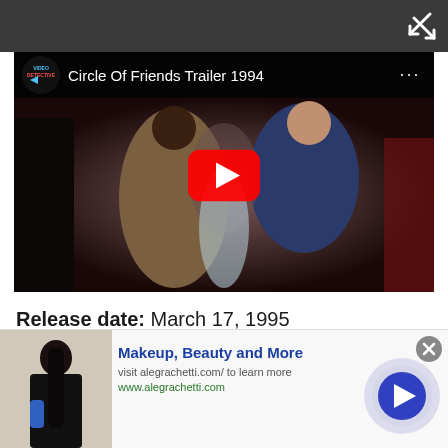[Figure (screenshot): Dark top navigation bar with a close/fullscreen icon (X arrows) in the top-right corner]
[Figure (screenshot): YouTube video player showing 'Circle Of Friends Trailer 1994' with Video Detective channel logo, a red play button in the center, and a scene from the film showing a woman in a blue off-shoulder dress]
Release date: March 17, 1995
[Figure (screenshot): Advertisement banner: image of person with dark hair on left, text 'Makeup, Beauty and More', 'visit alegrachetti.com/ to learn more', 'www.alegrachetti.com', with a blue circular arrow button on the right and a close X button]